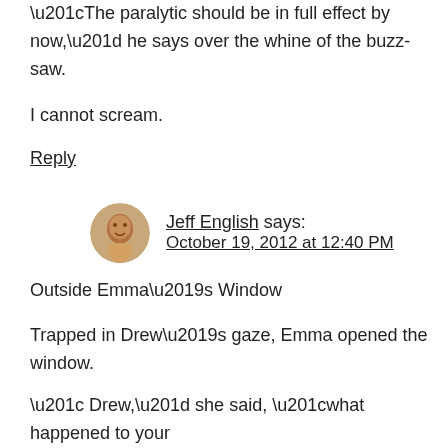“The paralytic should be in full effect by now,” he says over the whine of the buzz-saw.
I cannot scream.
Reply
Jeff English says: October 19, 2012 at 12:40 PM
Outside Emma’s Window
Trapped in Drew’s gaze, Emma opened the window.
“ Drew,” she said, “what happened to your